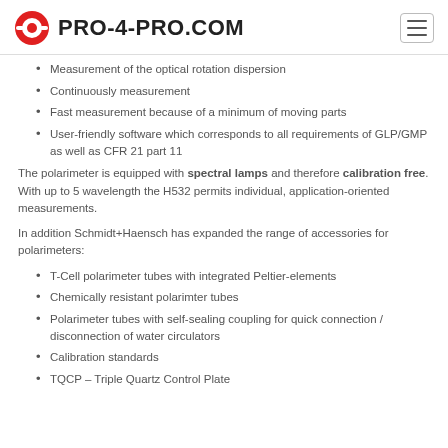PRO-4-PRO.COM
Measurement of the optical rotation dispersion
Continuously measurement
Fast measurement because of a minimum of moving parts
User-friendly software which corresponds to all requirements of GLP/GMP as well as CFR 21 part 11
The polarimeter is equipped with spectral lamps and therefore calibration free. With up to 5 wavelength the H532 permits individual, application-oriented measurements.
In addition Schmidt+Haensch has expanded the range of accessories for polarimeters:
T-Cell polarimeter tubes with integrated Peltier-elements
Chemically resistant polarimter tubes
Polarimeter tubes with self-sealing coupling for quick connection / disconnection of water circulators
Calibration standards
TQCP – Triple Quartz Control Plate